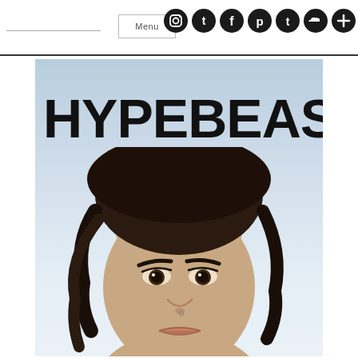Menu
[Figure (photo): Hypebeast magazine cover featuring large HYPEBEAST logo text over a portrait photo of a young woman with dark wavy hair against a light blue sky background]